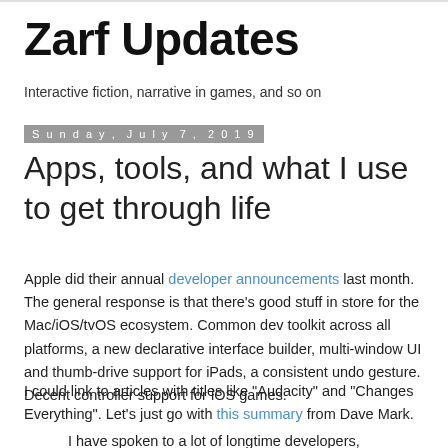Zarf Updates
Interactive fiction, narrative in games, and so on
Sunday, July 7, 2019
Apps, tools, and what I use to get through life
Apple did their annual developer announcements last month. The general response is that there's good stuff in store for the Mac/iOS/tvOS ecosystem. Common dev toolkit across all platforms, a new declarative interface builder, multi-window UI and thumb-drive support for iPads, a consistent undo gesture. Decent controller support for iOS games.
I could link to articles with titles like "Audacity" and "Changes Everything". Let's just go with this summary from Dave Mark.
I have spoken to a lot of longtime developers,